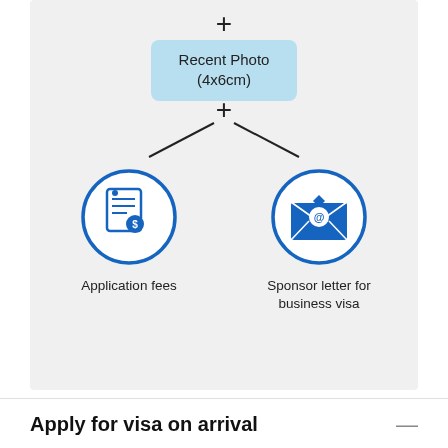[Figure (flowchart): Infographic showing visa document requirements. A '+' sign connects a 'Recent Photo (4x6cm)' box to two circular icons below (connected via lines and another '+' sign): 'Application fees' (document with dollar sign icon) and 'Sponsor letter for business visa' (envelope with @ symbol icon).]
Apply for visa on arrival
Visa on arrival is an alternative way to obtain a visa for Vietnam for those who fly from Batu Pahat to Vietnam (Average flight time between Batu Pahat and Vietnam is about 3 hours, 34 minutes). The process involves 4 simple steps: